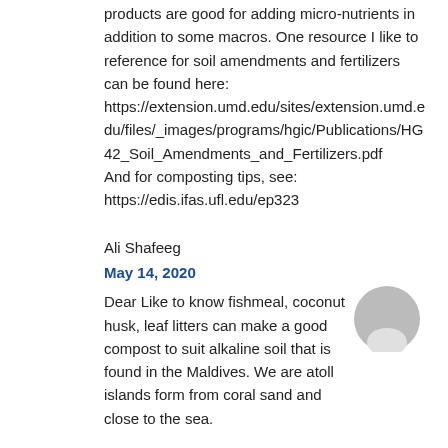products are good for adding micro-nutrients in addition to some macros. One resource I like to reference for soil amendments and fertilizers can be found here:
https://extension.umd.edu/sites/extension.umd.edu/files/_images/programs/hgic/Publications/HG42_Soil_Amendments_and_Fertilizers.pdf
And for composting tips, see:
https://edis.ifas.ufl.edu/ep323
Ali Shafeeg
May 14, 2020
Dear Like to know fishmeal, coconut husk, leaf litters can make a good compost to suit alkaline soil that is found in the Maldives. We are atoll islands form from coral sand and close to the sea.
Cindy
March 15, 2020
If you plan to keep him alone